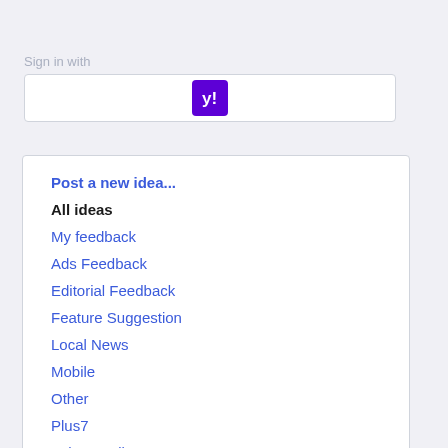Sign in with
[Figure (logo): Yahoo sign-in button with purple Yahoo checkmark logo icon inside a white rounded rectangle box]
Post a new idea...
All ideas
My feedback
Ads Feedback
Editorial Feedback
Feature Suggestion
Local News
Mobile
Other
Plus7
Yahoo Mail